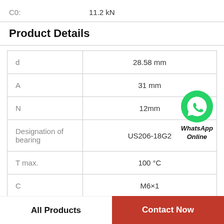C0: 11.2 kN
Product Details
| Parameter | Value |
| --- | --- |
| d | 28.58 mm |
| A | 31 mm |
| N | 12mm |
| Designation of bearing | US206-18G2 |
| T max. | 100 °C |
| C | M6×1 |
[Figure (logo): WhatsApp Online contact bubble with green phone icon and text 'WhatsApp Online']
All Products
Contact Now